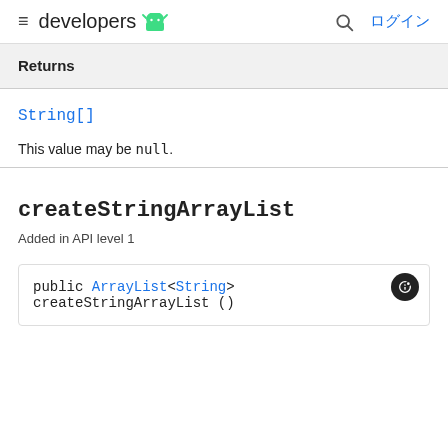developers  ログイン
Returns
String[]
This value may be null.
createStringArrayList
Added in API level 1
public ArrayList<String> createStringArrayList ()